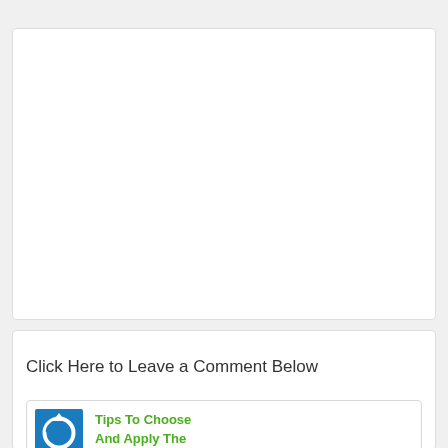Abigail Jones
Hi, I'm Abigail. I like spending time tearing my house apart and putting it together back again. Join me on home improvement tutorials, tips on my blog.
Click Here to Leave a Comment Below
[Figure (logo): Blue square with white power/refresh circle icon]
Tips To Choose And Apply The Right Paint Color